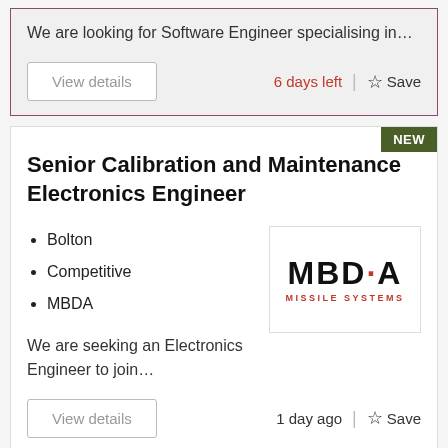We are looking for Software Engineer specialising in…
View details
6 days left
Save
Senior Calibration and Maintenance Electronics Engineer
Bolton
Competitive
MBDA
[Figure (logo): MBDA Missile Systems company logo in black bold letters with a red dot, and red text 'MISSILE SYSTEMS' below]
We are seeking an Electronics Engineer to join…
View details
1 day ago
Save